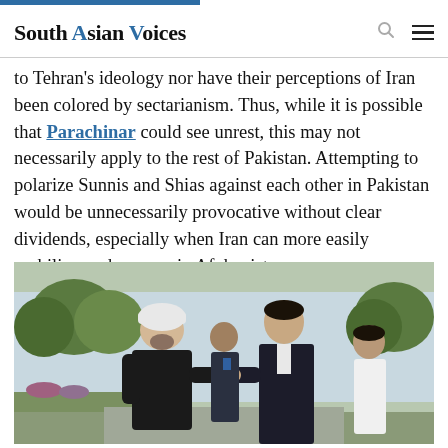South Asian Voices
to Tehran's ideology nor have their perceptions of Iran been colored by sectarianism. Thus, while it is possible that Parachinar could see unrest, this may not necessarily apply to the rest of Pakistan. Attempting to polarize Sunnis and Shias against each other in Pakistan would be unnecessarily provocative without clear dividends, especially when Iran can more easily mobilize such groups in Afghanistan.
[Figure (photo): Two men in dark clothing shaking hands outdoors, likely a diplomatic meeting. A man in a white turban and black coat on the left shakes hands with a taller man in a dark suit on the right. Two other men stand in the background. Green trees and a light blue building wall are visible in the background.]